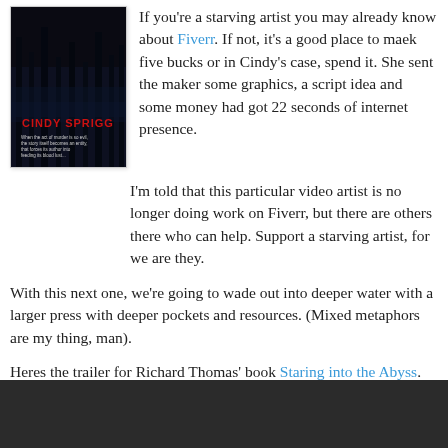[Figure (illustration): Book cover for 'Cindy Sprigg' — dark horror-style cover with silhouetted trees and red title text. Subtitle text reads: 'When the act of murder is so evil, the story itself becomes an entity, that forces its author into feeding its blood lust...']
If you're a starving artist you may already know about Fiverr. If not, it's a good place to maek five bucks or in Cindy's case, spend it. She sent the maker some graphics, a script idea and some money had got 22 seconds of internet presence.
I'm told that this particular video artist is no longer doing work on Fiverr, but there are others there who can help. Support a starving artist, for we are they.
With this next one, we're going to wade out into deeper water with a larger press with deeper pockets and resources. (Mixed metaphors are my thing, man).
Heres the trailer for Richard Thomas' book Staring into the Abyss.
[Figure (screenshot): Dark grey/charcoal video player bar at the bottom of the page]